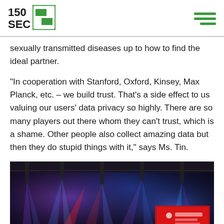150 SEC
sexually transmitted diseases up to how to find the ideal partner.
“In cooperation with Stanford, Oxford, Kinsey, Max Planck, etc. – we build trust. That’s a side effect to us valuing our users’ data privacy so highly. There are so many players out there whom they can’t trust, which is a shame. Other people also collect amazing data but then they do stupid things with it,” says Ms. Tin.
[Figure (photo): Event venue with colorful stage lighting beams and a red screen/display visible in the background, appearing to show a conference or tech event setup.]